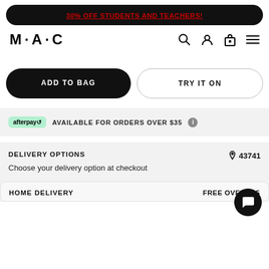30% OFF STUDENTS AND TEACHERS!
[Figure (logo): MAC Cosmetics logo with navigation icons (search, account, bag, menu)]
ADD TO BAG
TRY IT ON
afterpay AVAILABLE FOR ORDERS OVER $35
DELIVERY OPTIONS
Choose your delivery option at checkout
43741
HOME DELIVERY
FREE OVER $35